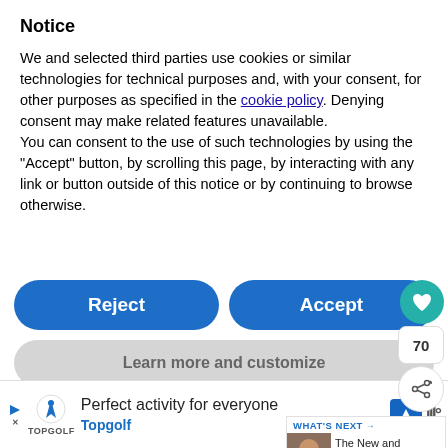Notice
We and selected third parties use cookies or similar technologies for technical purposes and, with your consent, for other purposes as specified in the cookie policy. Denying consent may make related features unavailable.
You can consent to the use of such technologies by using the “Accept” button, by scrolling this page, by interacting with any link or button outside of this notice or by continuing to browse otherwise.
[Figure (screenshot): Reject and Accept buttons (blue pill-shaped), Learn more and customize button (gray pill-shaped), heart/like button (teal circle), count badge showing 70, share button]
...the app, you can choose to be rem...
direct deposit, so the money goes straight into
yo...
[Figure (infographic): WHAT'S NEXT arrow label with thumbnail image and text 'The New and Improved...']
[Figure (screenshot): Advertisement bar: Perfect activity for everyone - Topgolf ad with logo and navigation icons]